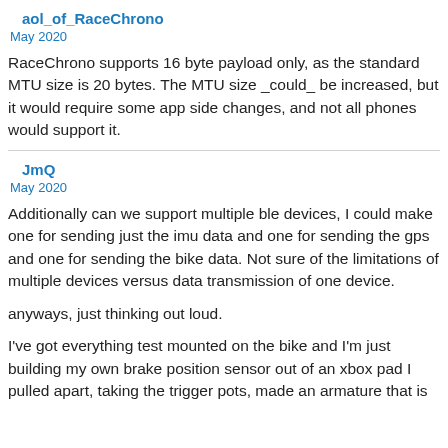aol_of_RaceChrono
May 2020
RaceChrono supports 16 byte payload only, as the standard MTU size is 20 bytes. The MTU size _could_ be increased, but it would require some app side changes, and not all phones would support it.
JmQ
May 2020
Additionally can we support multiple ble devices, I could make one for sending just the imu data and one for sending the gps and one for sending the bike data. Not sure of the limitations of multiple devices versus data transmission of one device.
anyways, just thinking out loud.
I've got everything test mounted on the bike and I'm just building my own brake position sensor out of an xbox pad I pulled apart, taking the trigger pots, made an armature that is